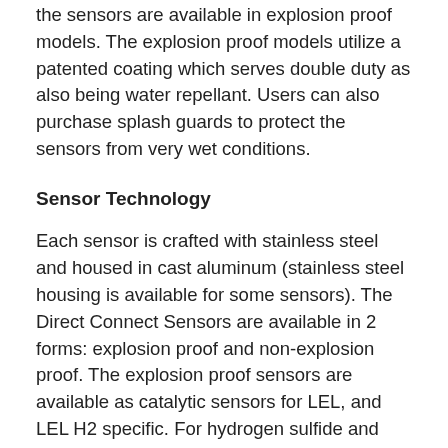the sensors are available in explosion proof models. The explosion proof models utilize a patented coating which serves double duty as also being water repellant. Users can also purchase splash guards to protect the sensors from very wet conditions.
Sensor Technology
Each sensor is crafted with stainless steel and housed in cast aluminum (stainless steel housing is available for some sensors). The Direct Connect Sensors are available in 2 forms: explosion proof and non-explosion proof. The explosion proof sensors are available as catalytic sensors for LEL, and LEL H2 specific. For hydrogen sulfide and carbon monoxide, the sensors utilize electrochemical technology which provides incredibly specific accuracy and quick response. Oxygen sensors work with galvanic technology, and infrared sensors for methane, hydrocarbons, and carbon dioxide. Non-explosion proof uses a galvanic sensor for oxygen;